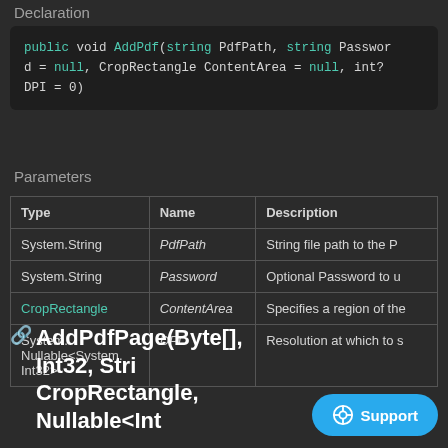Declaration
Parameters
| Type | Name | Description |
| --- | --- | --- |
| System.String | PdfPath | String file path to the P |
| System.String | Password | Optional Password to u |
| CropRectangle | ContentArea | Specifies a region of the |
| System.Nullable<System.Int32> | DPI | Resolution at which to s |
AddPdfPage(Byte[], Int32, Stri... CropRectangle, Nullable<Int...